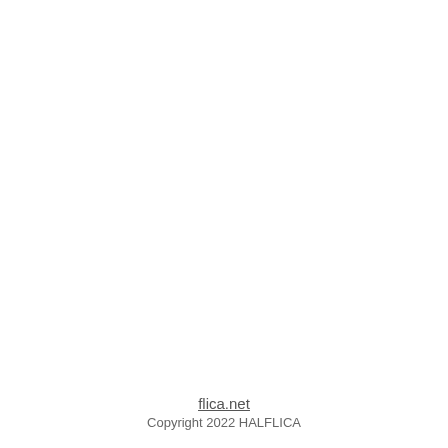flica.net
Copyright 2022 HALFLICA